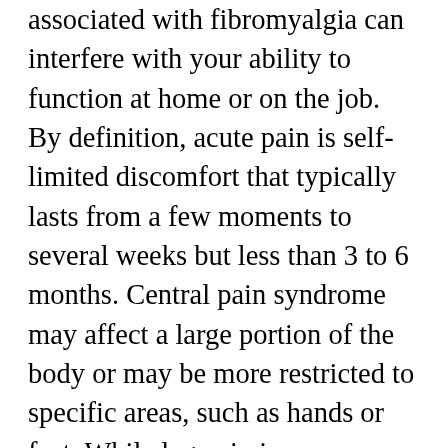associated with fibromyalgia can interfere with your ability to function at home or on the job. By definition, acute pain is self-limited discomfort that typically lasts from a few moments to several weeks but less than 3 to 6 months. Central pain syndrome may affect a large portion of the body or may be more restricted to specific areas, such as hands or feet. While leg pain is a common occurrence after an injury, pain may also occur because of medical conditions or nontraumatic reasons. The revised definition is published in the September 2020 issue of the journal Pain. A central change in the new definition, compared to the 1979 version, is replacing terminology that relied upon a